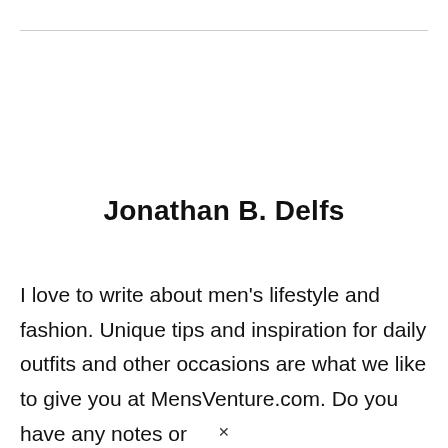Jonathan B. Delfs
I love to write about men's lifestyle and fashion. Unique tips and inspiration for daily outfits and other occasions are what we like to give you at MensVenture.com. Do you have any notes or